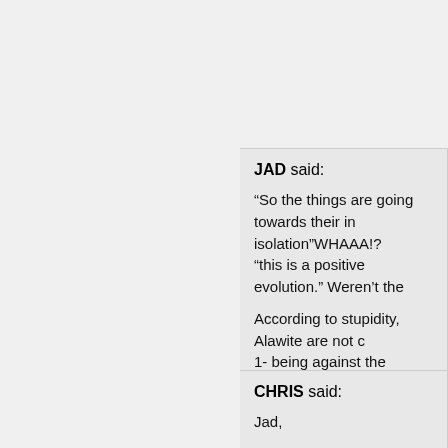they were isolated in their mountains from several influences ,old eastern religion their elite is atheist and we see many c... the cities. So the things are going towards their isolation,this is a positive evolution.As f... all of them were as portrayed by Pipes a...
May 19th, 2009, 10:04 pm
JAD said:
“So the things are going towards their isolation”WHAAA!?
“this is a positive evolution.” Weren't the...
According to stupidity, Alawite are not c...
1- being against the regime and die in p...
2- become Sunni OR
3- be atheist OR
4- Call a friend!
Where do you ignorant come with such...
May 19th, 2009, 10:30 pm
CHRIS said:
Jad,
Let’s try to keep the discussion civil by n...